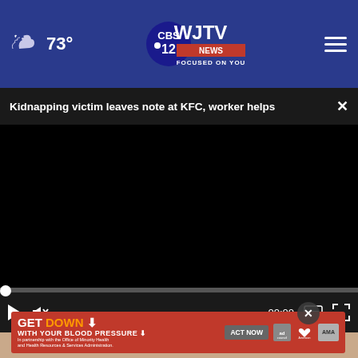73° WJTV News Focused on You
Kidnapping victim leaves note at KFC, worker helps
[Figure (screenshot): Black video player area with progress bar at bottom showing 00:00 timestamp and video controls (play, mute, captions, fullscreen)]
[Figure (photo): Partial view of a person's face/hair visible below video player]
[Figure (infographic): Red advertisement banner: GET DOWN WITH YOUR BLOOD PRESSURE, ACT NOW button, ad council and American Heart Association logos, AMA logo]